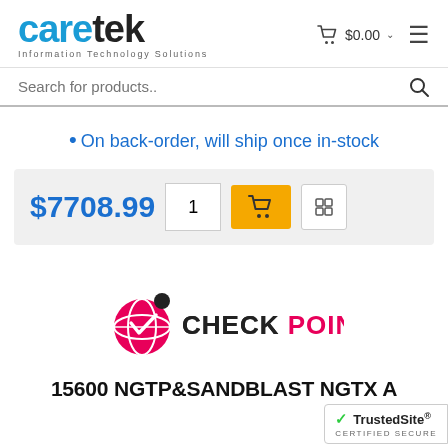[Figure (logo): Caretek logo - blue 'care' and black 'tek' text with 'Information Technology Solutions' subtitle]
$0.00
Search for products..
On back-order, will ship once in-stock
$7708.99
[Figure (logo): Check Point logo - pink globe icon with black dot and 'CHECK POINT' text in dark and pink]
15600 NGTP&SANDBLAST NGTX A
[Figure (logo): TrustedSite Certified Secure badge]